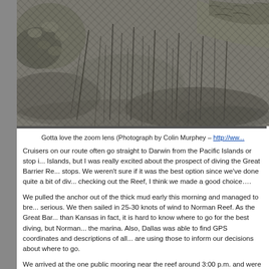[Figure (photo): Close-up photograph of a crocodile among dead vegetation and mud, taken with a zoom lens. Black and white/muted tones. Photograph by Colin Murphey.]
Gotta love the zoom lens (Photograph by Colin Murphey – http://www...
Cruisers on our route often go straight to Darwin from the Pacific Islands or stop in the Whitsunday Islands, but I was really excited about the prospect of diving the Great Barrier Reef, so we made several stops. We weren't sure if it was the best option since we've done quite a bit of div... checking out the Reef, I think we made a good choice….
We pulled the anchor out of the thick mud early this morning and managed to bre... serious. We then sailed in 25-30 knots of wind to Norman Reef. As the Great Bar... than Kansas in fact, it is hard to know where to go for the best diving, but Norman... the marina. Also, Dallas was able to find GPS coordinates and descriptions of all... are using those to inform our decisions about where to go.
We arrived at the one public mooring near the reef around 3:00 p.m. and were ha... (Anchoring at Norman isn't feasible, so if someone had been on the mooring, we'... through the night.) It was windy and overcast, but I wanted to get some snorkelin...